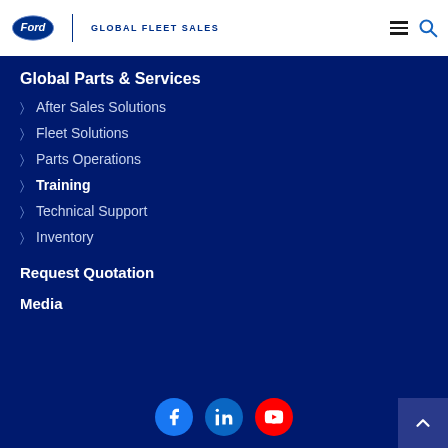Ford | GLOBAL FLEET SALES
Global Parts & Services
After Sales Solutions
Fleet Solutions
Parts Operations
Training
Technical Support
Inventory
Request Quotation
Media